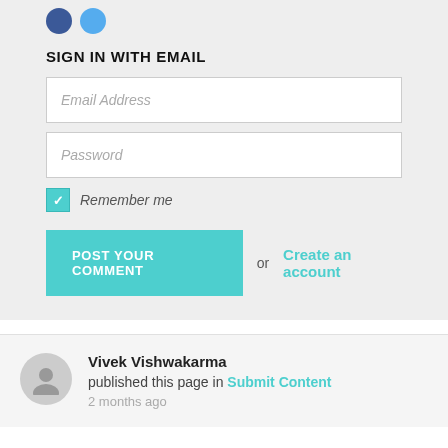[Figure (other): Two social login icon circles (Facebook blue and Twitter blue)]
SIGN IN WITH EMAIL
[Figure (screenshot): Email Address input field with italic placeholder text]
[Figure (screenshot): Password input field with italic placeholder text]
Remember me
POST YOUR COMMENT or Create an account
Vivek Vishwakarma published this page in Submit Content 2 months ago